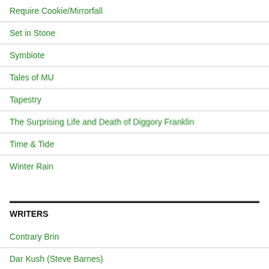Require Cookie/Mirrorfall
Set in Stone
Symbiote
Tales of MU
Tapestry
The Surprising Life and Death of Diggory Franklin
Time & Tide
Winter Rain
WRITERS
Contrary Brin
Dar Kush (Steve Barnes)